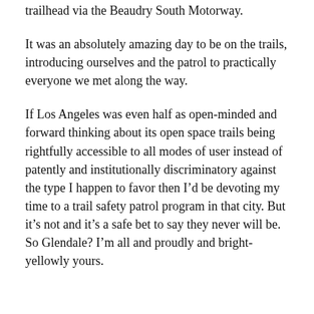trailhead via the Beaudry South Motorway.
It was an absolutely amazing day to be on the trails, introducing ourselves and the patrol to practically everyone we met along the way.
If Los Angeles was even half as open-minded and forward thinking about its open space trails being rightfully accessible to all modes of user instead of patently and institutionally discriminatory against the type I happen to favor then I’d be devoting my time to a trail safety patrol program in that city. But it’s not and it’s a safe bet to say they never will be. So Glendale? I’m all and proudly and bright-yellowly yours.